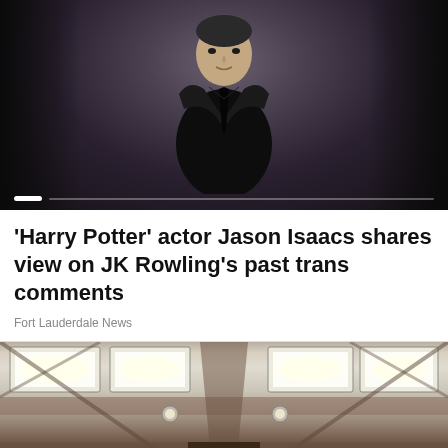[Figure (photo): Portrait photo of actor Jason Isaacs in a black suit against a muted background, with image carousel slider dots at the bottom]
'Harry Potter' actor Jason Isaacs shares view on JK Rowling's past trans comments
Fort Lauderdale News
[Figure (photo): Interior photo showing a ceiling with illuminated panel light fixtures in a building lobby or corridor]